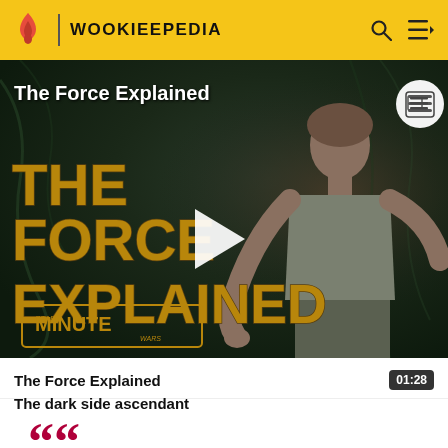WOOKIEEPEDIA
[Figure (screenshot): Video thumbnail for 'The Force Explained' — Star Wars Minute series. Shows Luke Skywalker with outstretched hand in a jungle setting. Bold golden text reads 'THE FORCE EXPLAINED' with a play button overlay.]
The Force Explained
01:28
The dark side ascendant
““